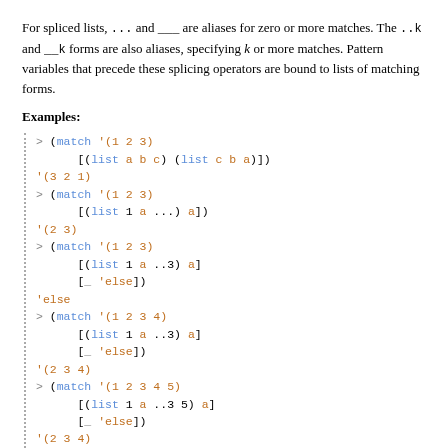For spliced lists, ... and ___ are aliases for zero or more matches. The ..k and __k forms are also aliases, specifying k or more matches. Pattern variables that precede these splicing operators are bound to lists of matching forms.
Examples:
[Figure (screenshot): A code block with a dotted left border containing multiple Racket REPL examples using match with list patterns and splicing operators (... and ..3). Examples show inputs and outputs for matching lists with pattern variables.]